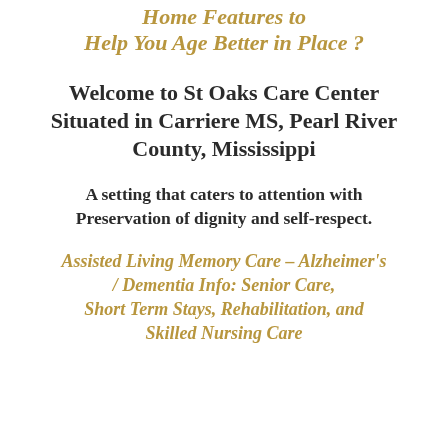Home Features to Help You Age Better in Place ?
Welcome to St Oaks Care Center Situated in Carriere MS, Pearl River County, Mississippi
A setting that caters to attention with Preservation of dignity and self-respect.
Assisted Living Memory Care – Alzheimer's / Dementia Info: Senior Care, Short Term Stays, Rehabilitation, and Skilled Nursing Care